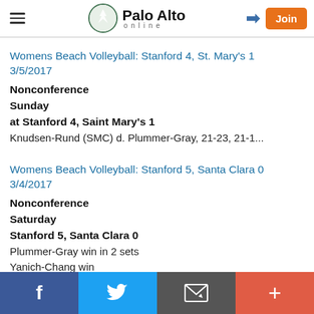Palo Alto online
Womens Beach Volleyball: Stanford 4, St. Mary's 1   3/5/2017
Nonconference
Sunday
at Stanford 4, Saint Mary's 1
Knudsen-Rund (SMC) d. Plummer-Gray, 21-23, 21-1...
Womens Beach Volleyball: Stanford 5, Santa Clara 0   3/4/2017
Nonconference
Saturday
Stanford 5, Santa Clara 0
Plummer-Gray win in 2 sets
Yanich-Chang win...